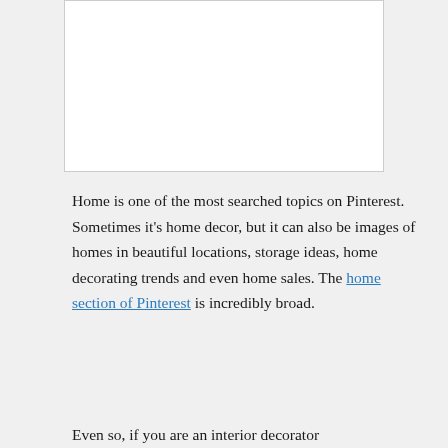[Figure (other): White rectangular image box with light gray border, no visible content]
Home is one of the most searched topics on Pinterest. Sometimes it's home decor, but it can also be images of homes in beautiful locations, storage ideas, home decorating trends and even home sales. The home section of Pinterest is incredibly broad.
Even so, if you are an interior decorator